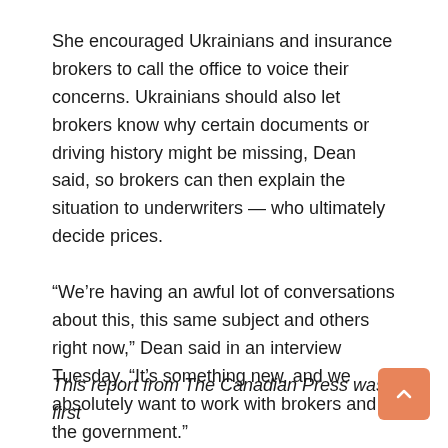She encouraged Ukrainians and insurance brokers to call the office to voice their concerns. Ukrainians should also let brokers know why certain documents or driving history might be missing, Dean said, so brokers can then explain the situation to underwriters — who ultimately decide prices.
“We’re having an awful lot of conversations about this, this same subject and others right now,” Dean said in an interview Tuesday. “It’s something new, and we absolutely want to work with brokers and the government.”
This report from The Canadian Press was first